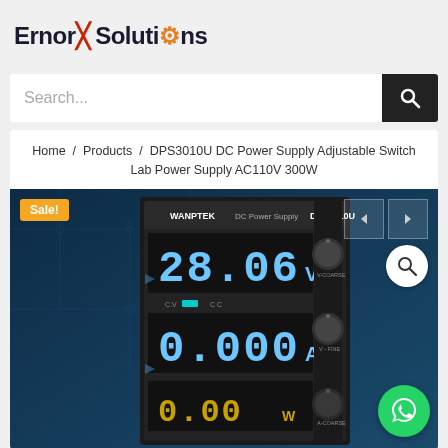ErnorX Solutions
Search...
Home / Products / DPS3010U DC Power Supply Adjustable Switch Lab Power Supply AC110V 300W
[Figure (photo): WANPTEK DPS3010U DC Power Supply showing 28.06V and 0.000A readings with V-COARSE, V-FINE, and A-COARSE knobs. Sale! badge in top-left corner.]